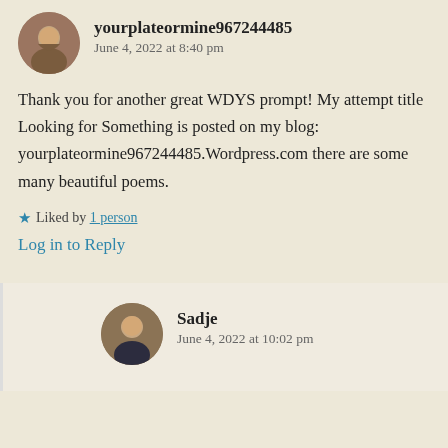[Figure (photo): Circular avatar photo of user yourplateormine967244485]
yourplateormine967244485
June 4, 2022 at 8:40 pm
Thank you for another great WDYS prompt! My attempt title Looking for Something is posted on my blog: yourplateormine967244485.Wordpress.com there are some many beautiful poems.
Liked by 1 person
Log in to Reply
[Figure (photo): Circular avatar photo of user Sadje]
Sadje
June 4, 2022 at 10:02 pm